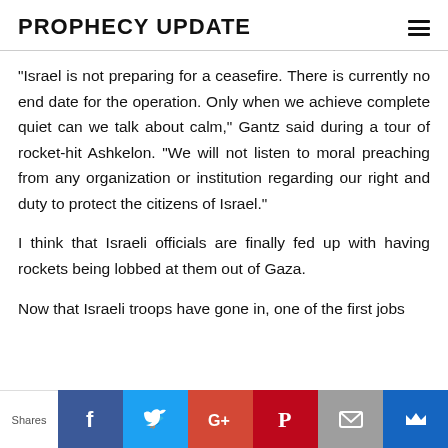PROPHECY UPDATE
“Israel is not preparing for a ceasefire. There is currently no end date for the operation. Only when we achieve complete quiet can we talk about calm,” Gantz said during a tour of rocket-hit Ashkelon. “We will not listen to moral preaching from any organization or institution regarding our right and duty to protect the citizens of Israel.”
I think that Israeli officials are finally fed up with having rockets being lobbed at them out of Gaza.
Now that Israeli troops have gone in, one of the first jobs